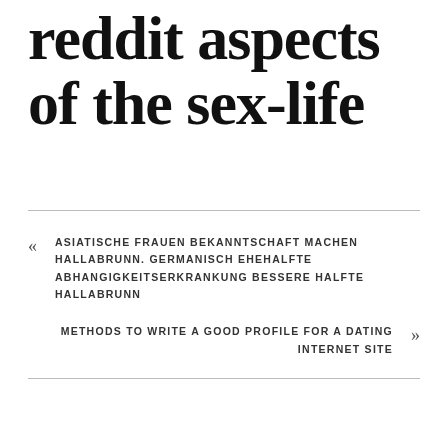reddit aspects of the sex-life
« ASIATISCHE FRAUEN BEKANNTSCHAFT MACHEN HALLABRUNN. GERMANISCH EHEHALFTE ABHANGIGKEITSERKRANKUNG BESSERE HALFTE HALLABRUNN
METHODS TO WRITE A GOOD PROFILE FOR A DATING INTERNET SITE »